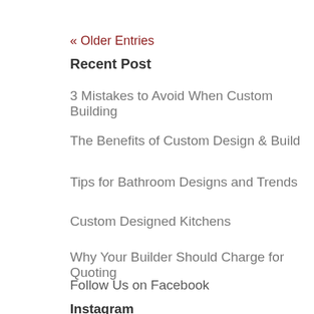« Older Entries
Recent Post
3 Mistakes to Avoid When Custom Building
The Benefits of Custom Design & Build
Tips for Bathroom Designs and Trends
Custom Designed Kitchens
Why Your Builder Should Charge for Quoting
Follow Us on Facebook
Instagram